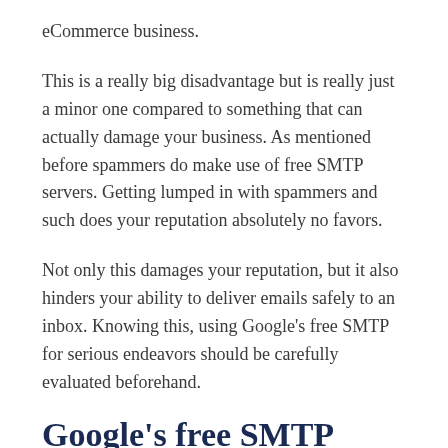eCommerce business.
This is a really big disadvantage but is really just a minor one compared to something that can actually damage your business. As mentioned before spammers do make use of free SMTP servers. Getting lumped in with spammers and such does your reputation absolutely no favors.
Not only this damages your reputation, but it also hinders your ability to deliver emails safely to an inbox. Knowing this, using Google's free SMTP for serious endeavors should be carefully evaluated beforehand.
Google's free SMTP server pros.
Not everything about Google's free SMTP server is bad, there are some good news too.